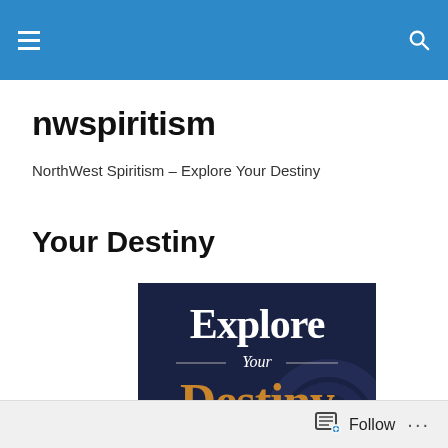nwspiritism [hamburger menu and search icon]
nwspiritism
NorthWest Spiritism – Explore Your Destiny
Your Destiny
[Figure (illustration): Book cover image with dark navy background. Text reads 'Explore Your Destiny – Since Your Life's Path is (mostly) Predetermined' in white and gold lettering.]
Follow ...